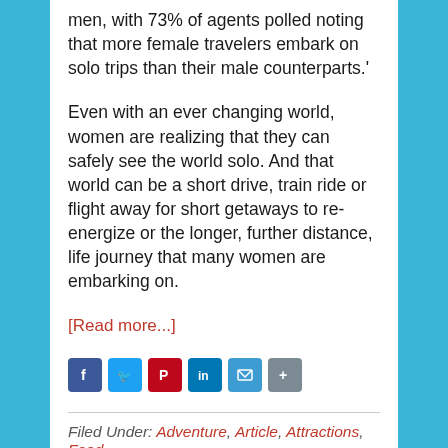men, with 73% of agents polled noting that more female travelers embark on solo trips than their male counterparts.'
Even with an ever changing world, women are realizing that they can safely see the world solo. And that world can be a short drive, train ride or flight away for short getaways to re-energize or the longer, further distance, life journey that many women are embarking on.
[Read more...]
[Figure (other): Social media sharing icons: Facebook, Twitter, Pinterest, LinkedIn, Email, Share]
Filed Under: Adventure, Article, Attractions, Food